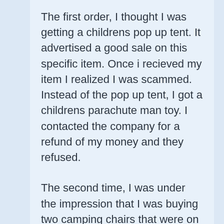The first order, I thought I was getting a childrens pop up tent. It advertised a good sale on this specific item. Once i recieved my item I realized I was scammed. Instead of the pop up tent, I got a childrens parachute man toy. I contacted the company for a refund of my money and they refused.
The second time, I was under the impression that I was buying two camping chairs that were on sale from $89 to $19. Once I recieved my order, I got two small foldable things that mimic a foldable bench chair type. The items I recieved aren't even big enough for my 10 month old to sit on. They look like toys. I asked for a refund yet again, but I was told that is what I ordered. I